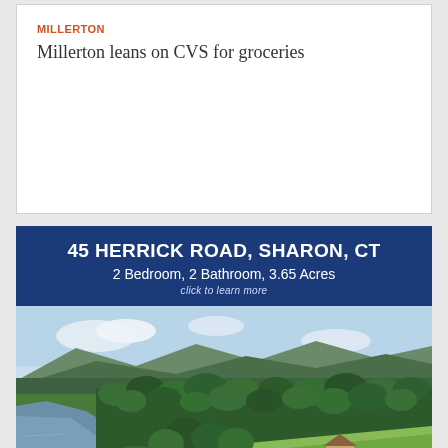MILLERTON
Millerton leans on CVS for groceries
[Figure (photo): Real estate advertisement for 45 Herrick Road, Sharon, CT. Blue header banner with property address, bedroom/bathroom/acreage details, and aerial photo showing a lakeside wooded property with a house visible among trees and an open green field, mountains in the background.]